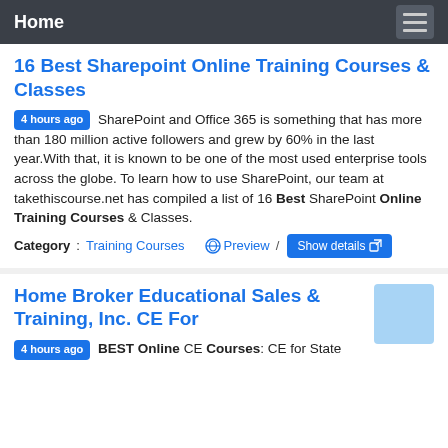Home
16 Best Sharepoint Online Training Courses & Classes
4 hours ago  SharePoint and Office 365 is something that has more than 180 million active followers and grew by 60% in the last year.With that, it is known to be one of the most used enterprise tools across the globe. To learn how to use SharePoint, our team at takethiscourse.net has compiled a list of 16 Best SharePoint Online Training Courses & Classes.
Category: Training Courses  Preview /  Show details
Home Broker Educational Sales & Training, Inc. CE For
4 hours ago  BEST Online CE Courses: CE for State